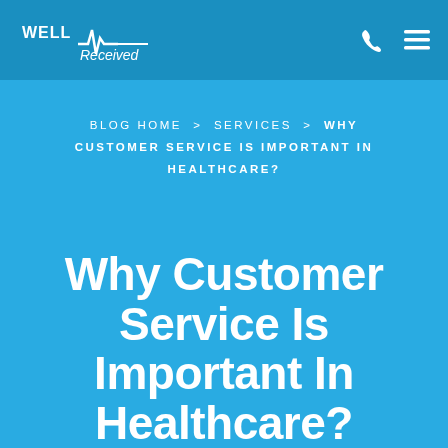[Figure (logo): Well Received logo with heartbeat line graphic and italic 'Received' text in white on blue header bar]
[Figure (other): Phone icon and hamburger menu icon in white on the right side of the header]
BLOG HOME > SERVICES > WHY CUSTOMER SERVICE IS IMPORTANT IN HEALTHCARE?
Why Customer Service Is Important In Healthcare?